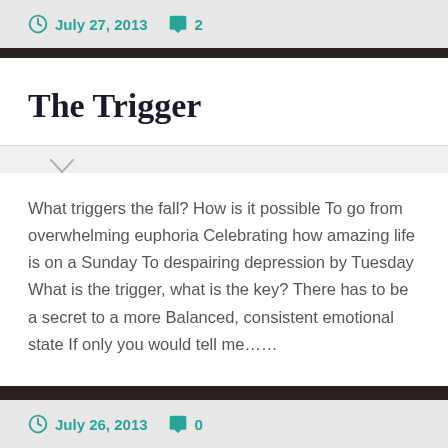July 27, 2013   2
The Trigger
What triggers the fall? How is it possible To go from overwhelming euphoria Celebrating how amazing life is on a Sunday To despairing depression by Tuesday What is the trigger, what is the key? There has to be a secret to a more Balanced, consistent emotional state If only you would tell me……
July 26, 2013   0